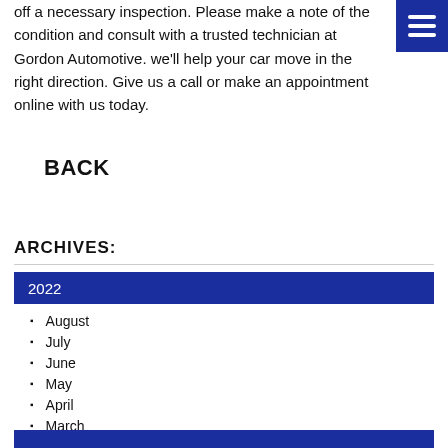off a necessary inspection. Please make a note of the condition and consult with a trusted technician at Gordon Automotive. we'll help your car move in the right direction. Give us a call or make an appointment online with us today.
BACK
ARCHIVES:
2022
August
July
June
May
April
March
February
January